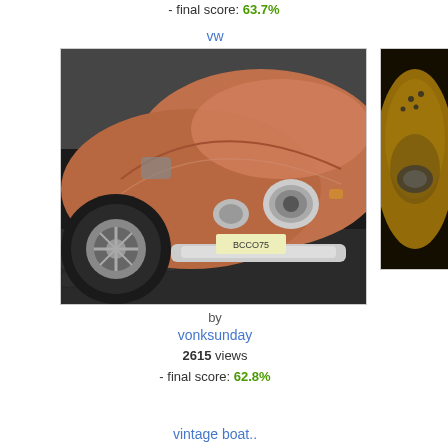- final score: 63.7%
vw
[Figure (photo): Close-up front view of a vintage VW Beetle in reddish-brown/copper color on cobblestone street, showing wheel, headlights, and chrome bumper]
[Figure (photo): Partial view of a golden/bronze colored object, possibly a vintage boat element]
by
vonksunday
2615 views
- final score: 62.8%
vintage boat..